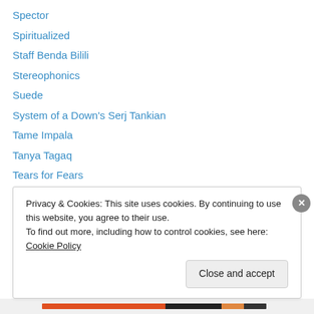Spector
Spiritualized
Staff Benda Bilili
Stereophonics
Suede
System of a Down's Serj Tankian
Tame Impala
Tanya Tagaq
Tears for Fears
Tegan & Sara
The Antlers
The Band's Robbie Robertson
The Cambodian Space Project
Privacy & Cookies: This site uses cookies. By continuing to use this website, you agree to their use.
To find out more, including how to control cookies, see here: Cookie Policy